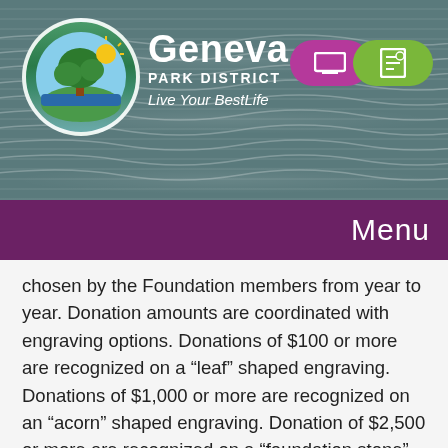[Figure (logo): Geneva Park District logo: circular emblem with tree, sun, and water; text reads 'Geneva PARK DISTRICT Live Your BestLife']
chosen by the Foundation members from year to year. Donation amounts are coordinated with engraving options. Donations of $100 or more are recognized on a “leaf” shaped engraving. Donations of $1,000 or more are recognized on an “acorn” shaped engraving. Donation of $2,500 or more are recognized on a “foundation stone” shaped engraving.
For those who have previously established their engraving and wish to renew their commitment, the year(s) of your donation(s) will be added to your